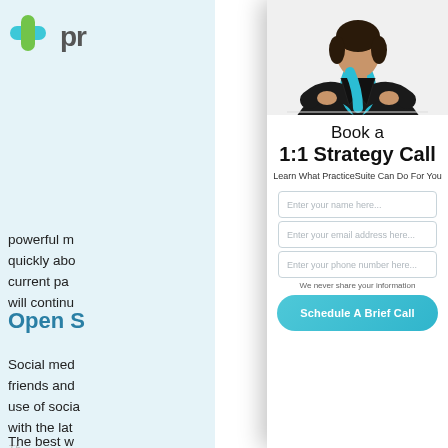[Figure (logo): PracticeSuite logo with teal/green plus icon and partial 'pr' text visible]
powerful m... quickly abo... current pa... will continu...
Open S...
Social med... friends and... use of socia... with the lat... information...
The best w...
[Figure (photo): Woman in dark blazer with teal scarf, arms crossed, professional pose]
Book a 1:1 Strategy Call
Learn What PracticeSuite Can Do For You
Enter your name here...
Enter your email address here...
Enter your phone number here...
We never share your information
Schedule A Brief Call